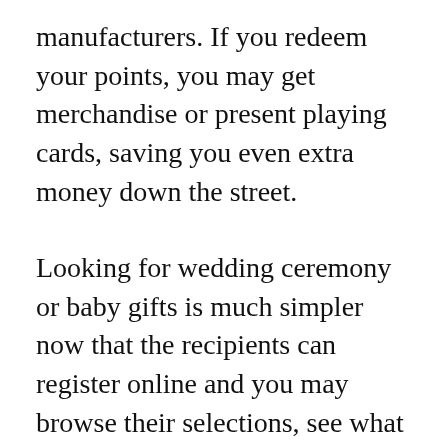manufacturers. If you redeem your points, you may get merchandise or present playing cards, saving you even extra money down the street.
Looking for wedding ceremony or baby gifts is much simpler now that the recipients can register online and you may browse their selections, see what has already been bought and select one thing that suits your budget and their wants. You may as well select to have the item delivered directly to them which saves time and money.